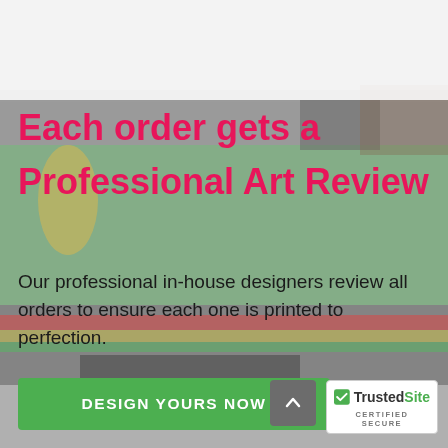[Figure (photo): Blurred background photo of colorful printed materials on a printing press/table with green, red, yellow colors visible. Top portion has a white/light overlay bar.]
Each order gets a Professional Art Review
Our professional in-house designers review all orders to ensure each one is printed to perfection.
DESIGN YOURS NOW
[Figure (logo): TrustedSite certified secure badge with green checkmark logo and text CERTIFIED SECURE]